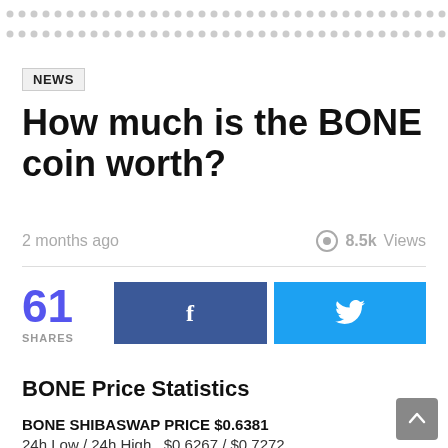[Figure (other): Decorative dotted/dashed pattern in two rows at the top of the page]
NEWS
How much is the BONE coin worth?
2 months ago   8.5k Views
61 SHARES
[Figure (other): Facebook share button with 'f' icon]
[Figure (other): Twitter share button with bird icon]
BONE Price Statistics
BONE SHIBASWAP PRICE $0.6381
24h Low / 24h High   $0.6267 / $0.7272